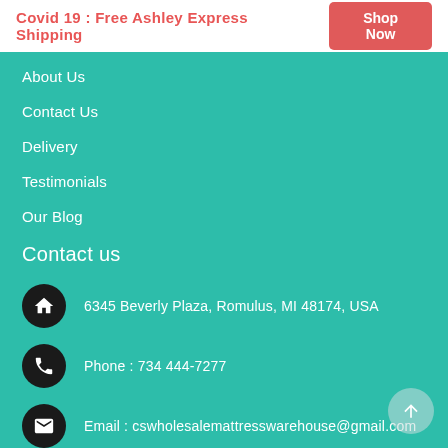Covid 19 : Free Ashley Express Shipping  Shop Now
About Us
Contact Us
Delivery
Testimonials
Our Blog
Contact us
6345 Beverly Plaza, Romulus, MI 48174, USA
Phone : 734 444-7277
Email : cswholesalemattresswarehouse@gmail.com